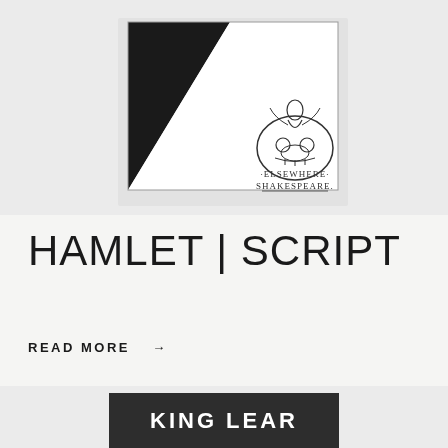[Figure (photo): Book cover for 'Elsewhere Shakespeare' showing a skull illustration with a figure on top, black and white diagonal design, hardcover book]
HAMLET | SCRIPT
READ MORE →
[Figure (photo): Partial view of King Lear book cover, dark grey hardcover with 'KING LEAR' text in white capitals]